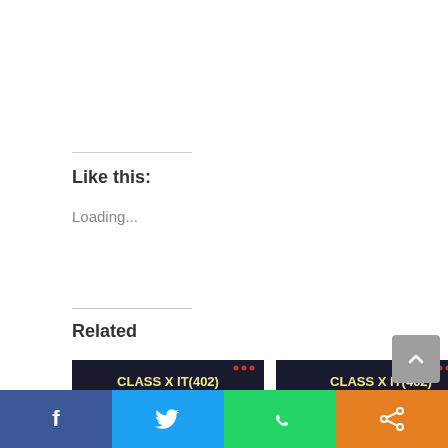Like this:
Loading...
Related
[Figure (screenshot): Thumbnail for '100 Important MCQ on RDBMS Class 10 IT 402 UNIT -3 Relational Database Management' — dark background with CLASS X IT(402) UNIT 3: RDBMS (BASIC) 100 MCQ text]
100 Important MCQ on RDBMS Class 10 IT 402 UNIT -3 Relational Database Management
[Figure (screenshot): Thumbnail for 'Information Technology Code 402 Class 10 Book Solutions | Unit 3 RDBMS(Basic)' — dark background with CLASS X IT(402) UNIT 3: RDBMS (BASIC) Class 10 Book Solutions text]
Information Technology Code 402 Class 10 Book Solutions | Unit 3 RDBMS(Basic)